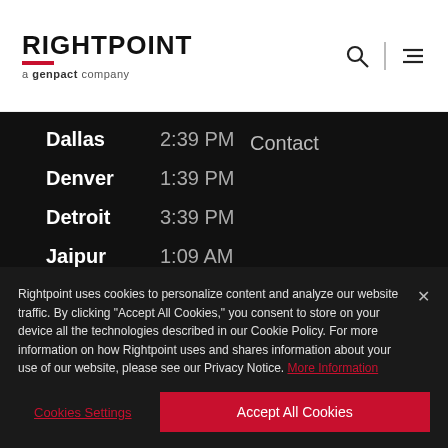RIGHTPOINT a genpact company
Dallas   2:39 PM
Denver   1:39 PM
Detroit  3:39 PM
Jaipur   1:09 AM
Los Angeles   12:39 PM
Contact
Rightpoint uses cookies to personalize content and analyze our website traffic. By clicking "Accept All Cookies," you consent to store on your device all the technologies described in our Cookie Policy. For more information on how Rightpoint uses and shares information about your use of our website, please see our Privacy Notice. More Information
Cookies Settings   Accept All Cookies